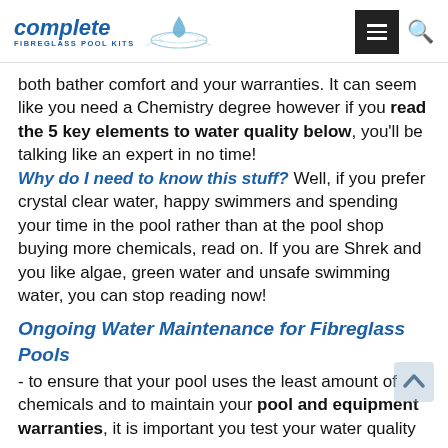complete FIBREGLASS POOL KITS
both bather comfort and your warranties. It can seem like you need a Chemistry degree however if you read the 5 key elements to water quality below, you'll be talking like an expert in no time! Why do I need to know this stuff? Well, if you prefer crystal clear water, happy swimmers and spending your time in the pool rather than at the pool shop buying more chemicals, read on. If you are Shrek and you like algae, green water and unsafe swimming water, you can stop reading now!
Ongoing Water Maintenance for Fibreglass Pools - to ensure that your pool uses the least amount of chemicals and to maintain your pool and equipment warranties, it is important you test your water quality